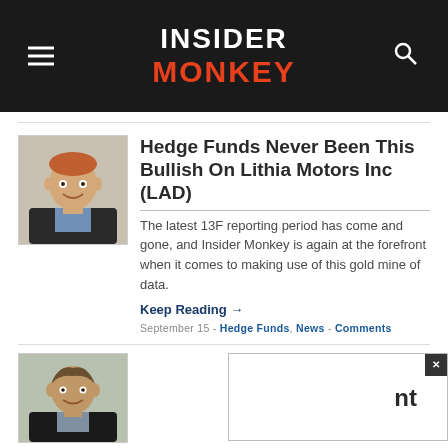INSIDER MONKEY
Hedge Funds Never Been This Bullish On Lithia Motors Inc (LAD)
The latest 13F reporting period has come and gone, and Insider Monkey is again at the forefront when it comes to making use of this gold mine of data.
Keep Reading →
September 15 - Hedge Funds, News - Comments